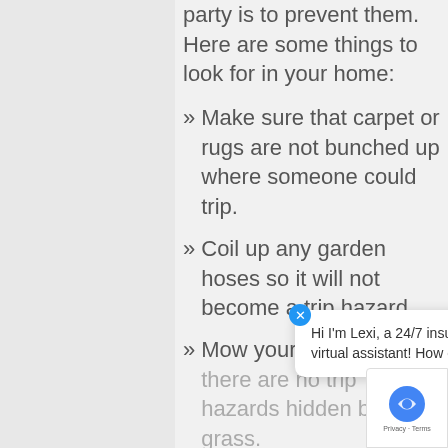party is to prevent them. Here are some things to look for in your home:
Make sure that carpet or rugs are not bunched up where someone could trip.
Coil up any garden hoses so it will not become a trip hazard.
Mow your lawn so that there are no trip hazards hidden by tall grass.
Make sure guests are not walking across a slippery